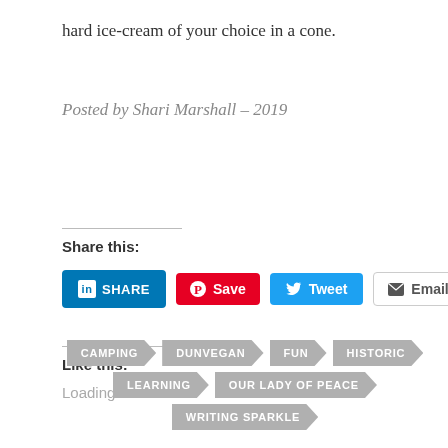hard ice-cream of your choice in a cone.
Posted by Shari Marshall – 2019
Share this:
[Figure (screenshot): Social share buttons: LinkedIn Share, Pinterest Save, Twitter Tweet, Email]
Like this:
Loading...
CAMPING
DUNVEGAN
FUN
HISTORIC
LEARNING
OUR LADY OF PEACE
WRITING SPARKLE